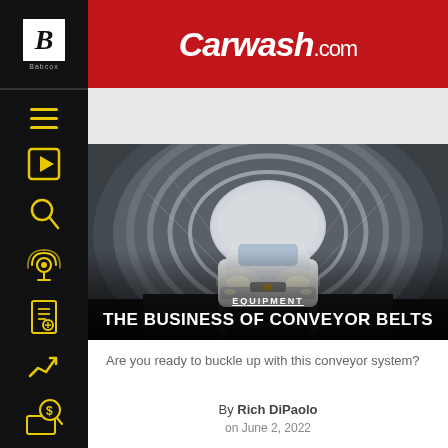Carwash.com
[Figure (photo): White sports car (Corvette) moving through a circular car wash tunnel with water spray and mist, dark tunnel view from front]
EQUIPMENT
THE BUSINESS OF CONVEYOR BELTS
Are you ready to buckle up with this conveyor system?
By Rich DiPaolo on June 2, 2022